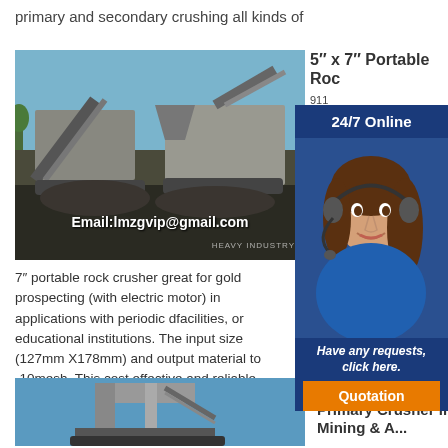primary and secondary crushing all kinds of
[Figure (photo): Industrial rock crushing/screening machinery plant with Email:lmzgvip@gmail.com overlay and heavy industry watermark]
5″ x 7″ Portable Rock... 911... 2022... 911... Crusher... gas...
[Figure (photo): 24/7 Online popup with customer service woman wearing headset, blue corporate overlay panel with 'Have any requests, click here.' and orange Quotation button]
7″ portable rock crusher great for gold prospecting (with electric motor) in applications with periodic d... facilities, or educational institutions. The input size (127mm X178mm) and output material to -10mesh. This cost effective and reliable portable rock
[Figure (photo): Jaw crusher machinery against blue sky]
Jaw Crusher
Primary Crusher in
Mining & ...